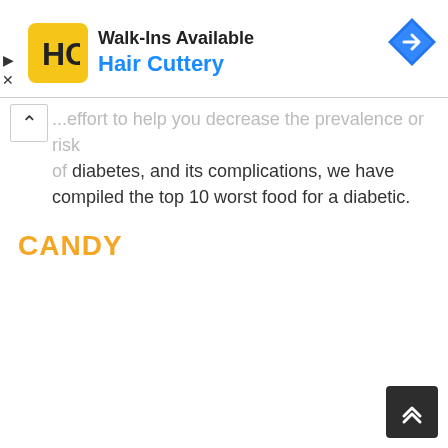[Figure (screenshot): Hair Cuttery advertisement banner with yellow HC logo, blue brand name, and blue diamond arrow icon]
...effort to help you decrease the prevalence or risk of diabetes, and its complications, we have compiled the top 10 worst food for a diabetic.
CANDY